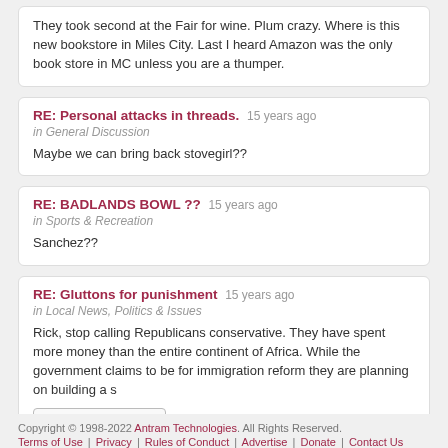They took second at the Fair for wine. Plum crazy. Where is this new bookstore in Miles City. Last I heard Amazon was the only book store in MC unless you are a thumper.
RE: Personal attacks in threads. 15 years ago in General Discussion
Maybe we can bring back stovegirl??
RE: BADLANDS BOWL ?? 15 years ago in Sports & Recreation
Sanchez??
RE: Gluttons for punishment 15 years ago in Local News, Politics & Issues
Rick, stop calling Republicans conservative. They have spent more money than the entire continent of Africa. While the government claims to be for immigration reform they are planning on building a s
+ 283 more characters
Copyright © 1998-2022 Antram Technologies. All Rights Reserved. Terms of Use | Privacy | Rules of Conduct | Advertise | Donate | Contact Us